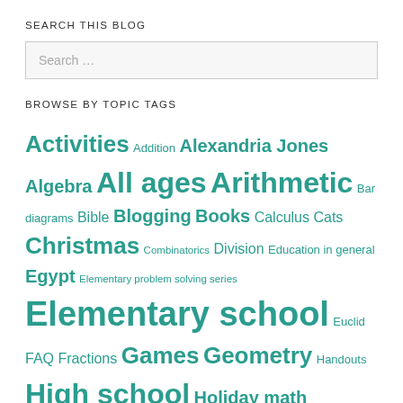SEARCH THIS BLOG
Search …
BROWSE BY TOPIC TAGS
Activities Addition Alexandria Jones Algebra All ages Arithmetic Bar diagrams Bible Blogging Books Calculus Cats Christmas Combinatorics Division Education in general Egypt Elementary problem solving series Elementary school Euclid FAQ Fractions Games Geometry Handouts High school Holiday math Homeschool co-op Homeschooling Hundred chart Indie publishing Infinity Logic Math club MathCounts Math facts Math